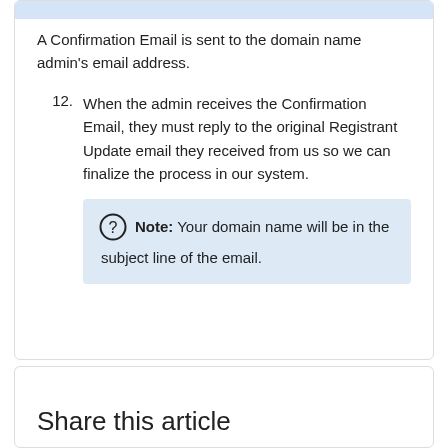A Confirmation Email is sent to the domain name admin's email address.
12. When the admin receives the Confirmation Email, they must reply to the original Registrant Update email they received from us so we can finalize the process in our system.
Note: Your domain name will be in the subject line of the email.
Share this article